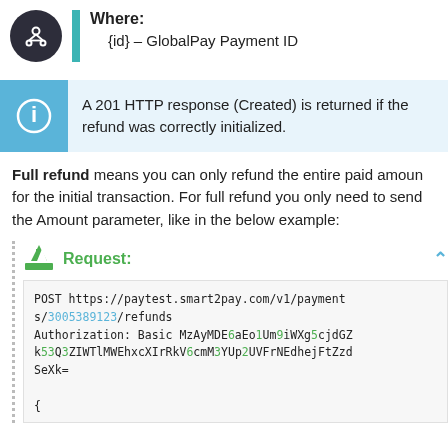Where: {id} – GlobalPay Payment ID
A 201 HTTP response (Created) is returned if the refund was correctly initialized.
Full refund means you can only refund the entire paid amount for the initial transaction. For full refund you only need to send the Amount parameter, like in the below example:
Request:
POST https://paytest.smart2pay.com/v1/payments/3005389123/refunds
Authorization: Basic MzAyMDE6aEo1Um9iWXg5cjdGZk53Q3ZIWTlMWEhxcXIrRkV6cmM3YUp2UVFrNEdhejFtZzdSeXk=
{